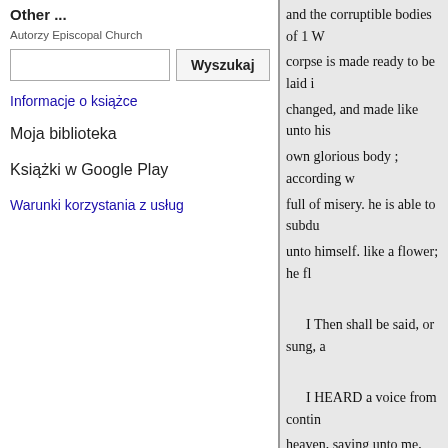Other ...
Autorzy Episcopal Church
[search input and Wyszukaj button]
Informacje o książce
Moja biblioteka
Książki w Google Play
Warunki korzystania z usług
and the corruptible bodies of 1 W corpse is made ready to be laid i changed, and made like unto his own glorious body ; according w full of misery. he is able to subdu unto himself. like a flower; he fl
I Then shall be said, or sung, a
I HEARD a voice from contin heaven, saying unto me, Write, I whom may we dead who die in t LORD, who for our sins art they
Rev. xiv. 13. Yet, O LORD Go O holy
Prayer and most merciful Savi be thy Name; pains of eternal de
Thou knowest, LORD, the be do our not thy merciful ears to our o we forgive those most holy, O G lead us not into temptation ; thou